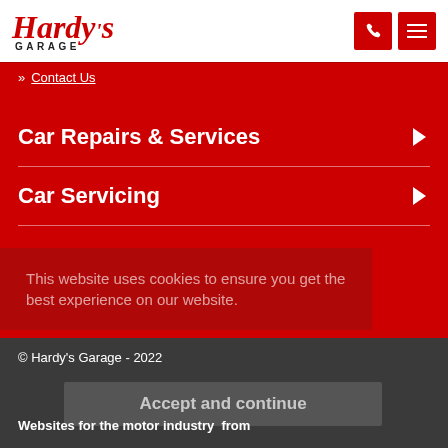[Figure (logo): Hardy's Garage logo in red italic script with GARAGE in black caps beneath]
[Figure (other): Red phone icon button and red hamburger menu icon button]
» Contact Us
Car Repairs & Services
Car Servicing
This website uses cookies to ensure you get the best experience on our website.
© Hardy's Garage - 2022
Accept and continue
Websites for the motor industry  from